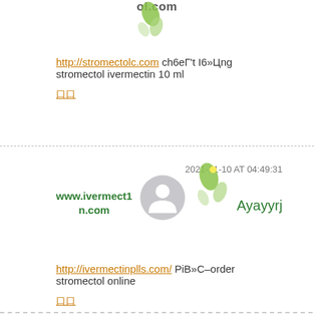ol.com
http://stromectolc.com сh6еГ't І6»Цng stromectol ivermectin 10 ml
口口
2021-11-10 AT 04:49:31
www.ivermect1n.com
Ayayyrj
http://ivermectinplls.com/ РіВ»С–order stromectol online
口口